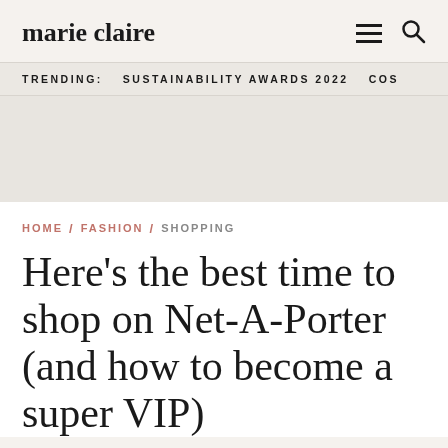marie claire
TRENDING: SUSTAINABILITY AWARDS 2022 COS
Here's the best time to shop on Net-A-Porter (and how to become a super VIP)
HOME / FASHION / SHOPPING